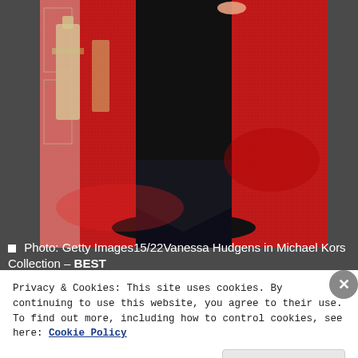[Figure (photo): A person in a black sequined gown photographed from the waist down, standing on a red carpet. Oscar statuette visible in background on left. Photo credit: Getty Images.]
Photo: Getty Images15/22Vanessa Hudgens in Michael Kors Collection – BEST
[Figure (photo): Partial view of next slideshow image, showing a light-colored background with partial figures.]
Privacy & Cookies: This site uses cookies. By continuing to use this website, you agree to their use.
To find out more, including how to control cookies, see here: Cookie Policy
Close and accept